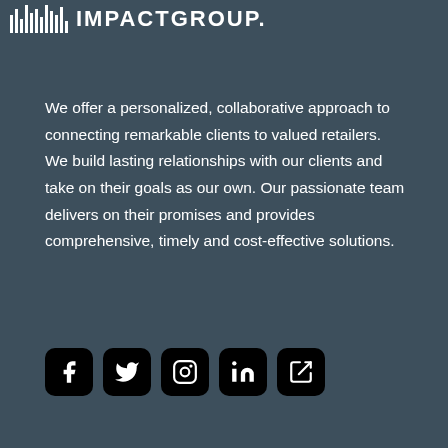[Figure (logo): IMPACTGROUP logo with barcode-style icon on the left and bold uppercase text on the right]
We offer a personalized, collaborative approach to connecting remarkable clients to valued retailers. We build lasting relationships with our clients and take on their goals as our own. Our passionate team delivers on their promises and provides comprehensive, timely and cost-effective solutions.
[Figure (other): Row of five social media icons: Facebook, Twitter, Instagram, LinkedIn, and a share/bookmark icon, all in black rounded square buttons]